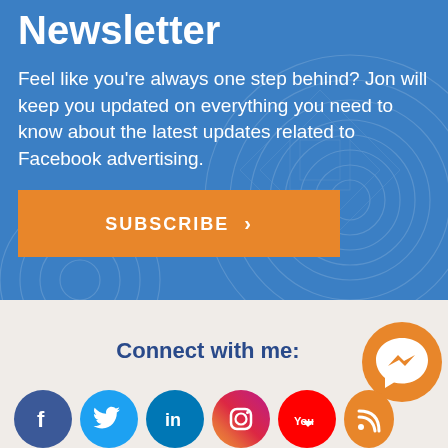Newsletter
Feel like you're always one step behind? Jon will keep you updated on everything you need to know about the latest updates related to Facebook advertising.
SUBSCRIBE ›
Connect with me:
[Figure (illustration): Social media icons row: Facebook, Twitter, LinkedIn, Instagram, YouTube, RSS, and a Messenger floating icon]
[Figure (illustration): Facebook Messenger chat bubble icon in orange circle]